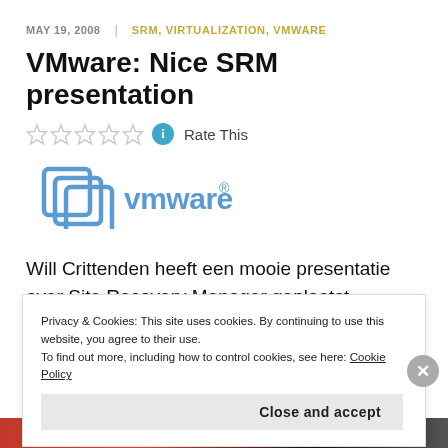MAY 19, 2008  |  SRM, VIRTUALIZATION, VMWARE
VMware: Nice SRM presentation
Rate This
[Figure (logo): VMware logo in blue with stylized overlapping rectangles icon]
Will Crittenden heeft een mooie presentatie over Site Recovery Manager geplaatst.
Privacy & Cookies: This site uses cookies. By continuing to use this website, you agree to their use.
To find out more, including how to control cookies, see here: Cookie Policy
Close and accept